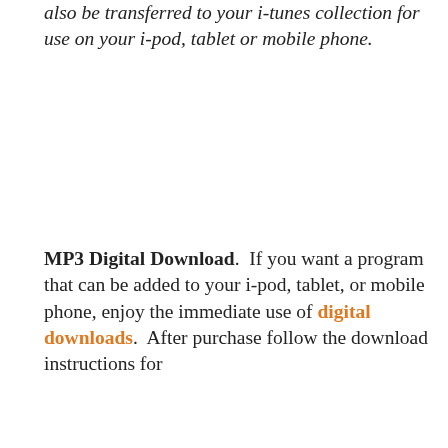also be transferred to your i-tunes collection for use on your i-pod, tablet or mobile phone.
MP3 Digital Download.  If you want a program that can be added to your i-pod, tablet, or mobile phone, enjoy the immediate use of digital downloads.  After purchase follow the download instructions for